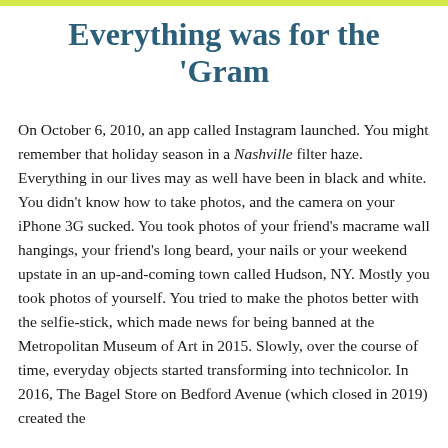Everything was for the 'Gram
On October 6, 2010, an app called Instagram launched. You might remember that holiday season in a Nashville filter haze. Everything in our lives may as well have been in black and white. You didn't know how to take photos, and the camera on your iPhone 3G sucked. You took photos of your friend's macrame wall hangings, your friend's long beard, your nails or your weekend upstate in an up-and-coming town called Hudson, NY. Mostly you took photos of yourself. You tried to make the photos better with the selfie-stick, which made news for being banned at the Metropolitan Museum of Art in 2015. Slowly, over the course of time, everyday objects started transforming into technicolor. In 2016, The Bagel Store on Bedford Avenue (which closed in 2019) created the